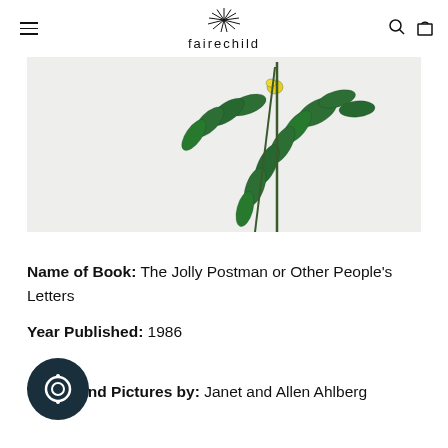fairechild
[Figure (photo): Partial view of green leafy plant branches with a yellow flower against a white background, cropped at the top]
Name of Book: The Jolly Postman or Other People's Letters
Year Published: 1986
Words and Pictures by: Janet and Allen Ahlberg